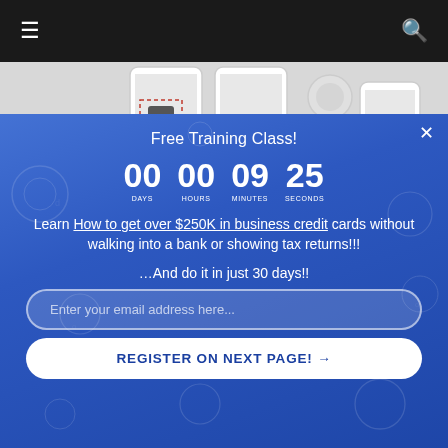Navigation bar with hamburger menu and search icon
[Figure (illustration): Partial view of phone mockups on a light gray background, bottom portion cropped]
Free Training Class!
00 DAYS  00 HOURS  09 MINUTES  25 SECONDS
Learn How to get over $250K in business credit cards without walking into a bank or showing tax returns!!!
…And do it in just 30 days!!
Enter your email address here...
REGISTER ON NEXT PAGE! →